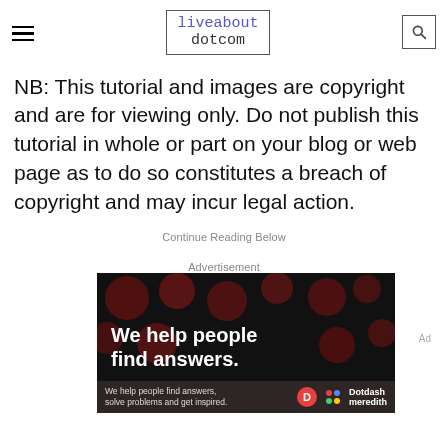liveabout dotcom
NB: This tutorial and images are copyright and are for viewing only. Do not publish this tutorial in whole or part on your blog or web page as to do so constitutes a breach of copyright and may incur legal action.
Continue Reading Below
Advertisement
[Figure (other): Advertisement banner: black background with dark red circles/dots pattern. Large white bold text reads 'We help people find answers.' Footer bar shows 'We help people find answers, solve problems and get inspired.' with Dotdash Meredith logo.]